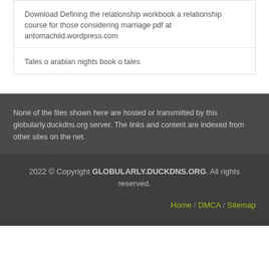Download Defining the relationship workbook a relationship course for those considering marriage pdf at antomachild.wordpress.com
Tales o arabian nights book o tales
None of the files shown here are hosted or transmitted by this globularly.duckdns.org server. The links and content are indexed from other sites on the net.
2022 © Copyright GLOBULARLY.DUCKDNS.ORG. All rights reserved. Home / DMCA / Sitemap